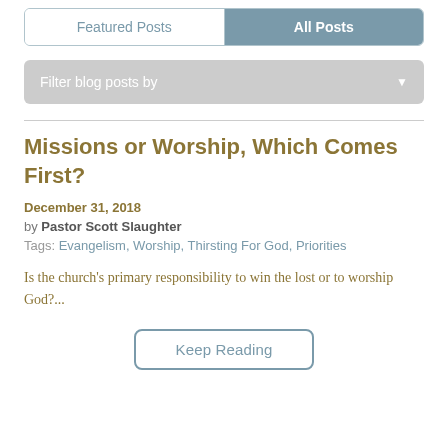Featured Posts | All Posts
Filter blog posts by
Missions or Worship, Which Comes First?
December 31, 2018
by Pastor Scott Slaughter
Tags: Evangelism, Worship, Thirsting For God, Priorities
Is the church's primary responsibility to win the lost or to worship God?...
Keep Reading